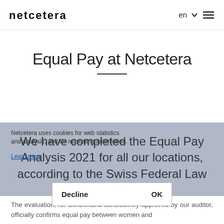[Figure (logo): Netcetera logo in lowercase bold letters]
en ∨ ☰
Equal Pay at Netcetera
We have completed the Equal Pay Analysis 2021 for all our locations, according to the Swiss Federal Law on Equality between women and men, with a very positive result.
Netcetera uses cookies for web statistics and analysis, and for marketing automation. Learn more
Decline   OK
The evaluation, for Switzerland conclusively approved by our auditor, officially confirms equal pay between women and